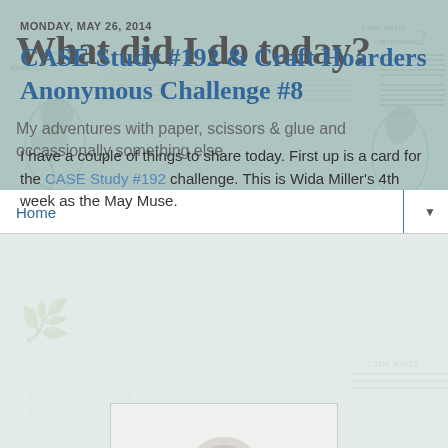What did I do today?
My adventures with paper, scissors & glue and occassionally something else.
Home
MONDAY, MAY 26, 2014
CASE Study #192 & Craft Hoarders Anonymous Challenge #8
I have a couple of things to share today. First up is a card for the CASE Study #192 challenge. This is Wida Miller's 4th week as the May Muse.
[Figure (photo): Partial view of a card/craft project image at bottom of page]